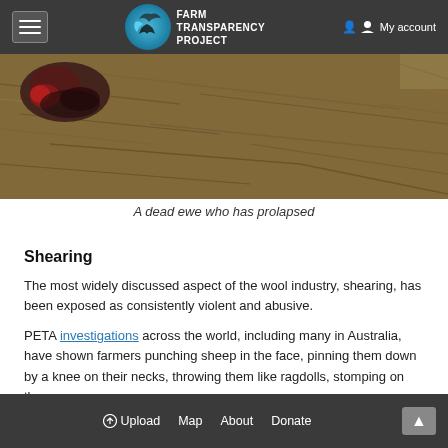Farm Transparency Project — My account
[Figure (photo): A dead ewe lying on dry grass/dirt ground, showing a dark reddish mass (prolapse). The ground is covered with dry brown straw and dirt.]
A dead ewe who has prolapsed
Shearing
The most widely discussed aspect of the wool industry, shearing, has been exposed as consistently violent and abusive.
PETA investigations across the world, including many in Australia, have shown farmers punching sheep in the face, pinning them down by a knee on their necks, throwing them like ragdolls, stomping on them,
Upload  Map  About  Donate